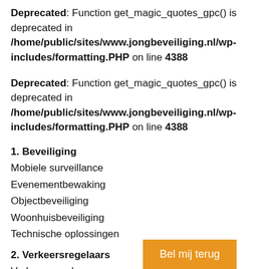Deprecated: Function get_magic_quotes_gpc() is deprecated in /home/public/sites/www.jongbeveiliging.nl/wp-includes/formatting.PHP on line 4388
Deprecated: Function get_magic_quotes_gpc() is deprecated in /home/public/sites/www.jongbeveiliging.nl/wp-includes/formatting.PHP on line 4388
1. Beveiliging
Mobiele surveillance
Evenementbewaking
Objectbeveiliging
Woonhuisbeveiliging
Technische oplossingen
2. Verkeersregelaars
Verkeersregelaars
Verkeersmaatregelen
Video Control
Bel mij terug